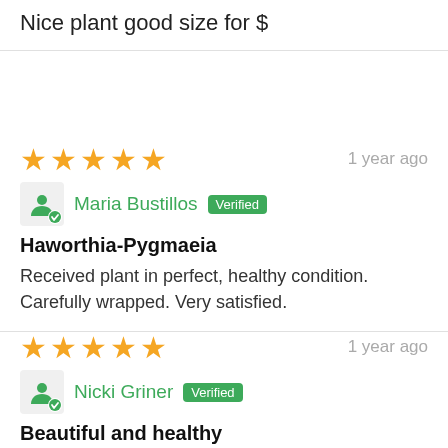Nice plant good size for $
1 year ago
Maria Bustillos  Verified
Haworthia-Pygmaeia
Received plant in perfect, healthy condition. Carefully wrapped. Very satisfied.
1 year ago
Nicki Griner  Verified
Beautiful and healthy